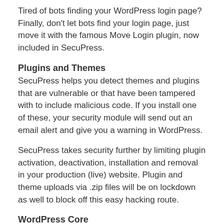Tired of bots finding your WordPress login page? Finally, don't let bots find your login page, just move it with the famous Move Login plugin, now included in SecuPress.
Plugins and Themes
SecuPress helps you detect themes and plugins that are vulnerable or that have been tampered with to include malicious code. If you install one of these, your security module will send out an email alert and give you a warning in WordPress.
SecuPress takes security further by limiting plugin activation, deactivation, installation and removal in your production (live) website. Plugin and theme uploads via .zip files will be on lockdown as well to block off this easy hacking route.
WordPress Core
SecuPress reinforces the WordPress Core to keep it